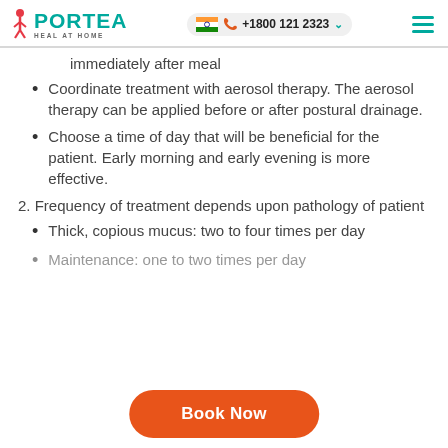PORTEA HEAL AT HOME | +1800 121 2323
immediately after meal
Coordinate treatment with aerosol therapy. The aerosol therapy can be applied before or after postural drainage.
Choose a time of day that will be beneficial for the patient. Early morning and early evening is more effective.
Frequency of treatment depends upon pathology of patient
Thick, copious mucus: two to four times per day
Maintenance: one to two times per day